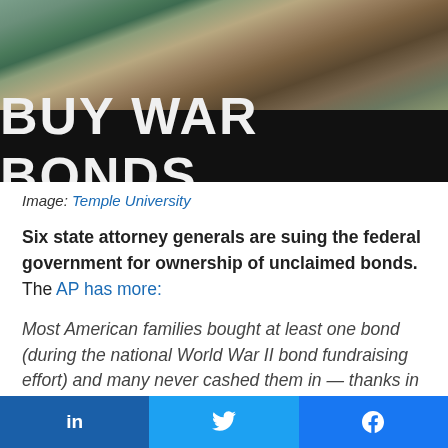[Figure (photo): A World War II era 'BUY WAR BONDS' poster with a painted battlefield scene at top and large white text on dark background.]
Image: Temple University
Six state attorney generals are suing the federal government for ownership of unclaimed bonds. The AP has more:
Most American families bought at least one bond (during the national World War II bond fundraising effort) and many never cashed them in — thanks in
in  [twitter bird]  [facebook f]